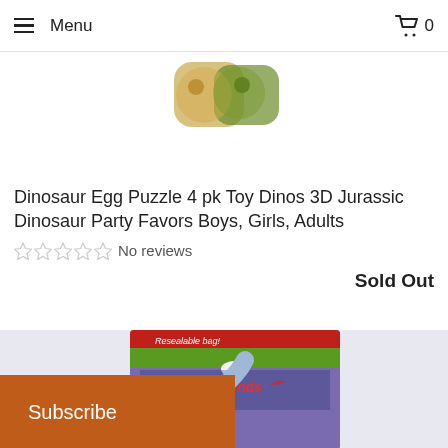Menu  0
[Figure (photo): Product image of Dinosaur Egg Puzzle toys, partially visible at top of page]
Dinosaur Egg Puzzle 4 pk Toy Dinos 3D Jurassic Dinosaur Party Favors Boys, Girls, Adults
No reviews
Sold Out
[Figure (photo): Product packaging for Dinosaur Friends resealable bag with dinosaur imagery]
Subscribe